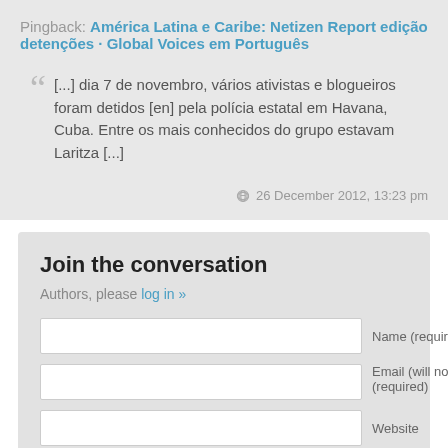Pingback: América Latina e Caribe: Netizen Report edição detenções · Global Voices em Português
[...] dia 7 de novembro, vários ativistas e blogueiros foram detidos [en] pela polícia estatal em Havana, Cuba. Entre os mais conhecidos do grupo estavam Laritza [...]
26 December 2012, 13:23 pm
Join the conversation
Authors, please log in »
Name (required)
Email (will not be published) (required)
Website